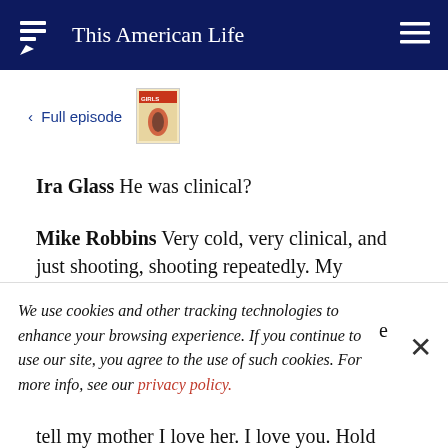This American Life
< Full episode
Ira Glass He was clinical?
Mike Robbins Very cold, very clinical, and just shooting, shooting repeatedly. My
We use cookies and other tracking technologies to enhance your browsing experience. If you continue to use our site, you agree to the use of such cookies. For more info, see our privacy policy.
tell my mother I love her. I love you. Hold